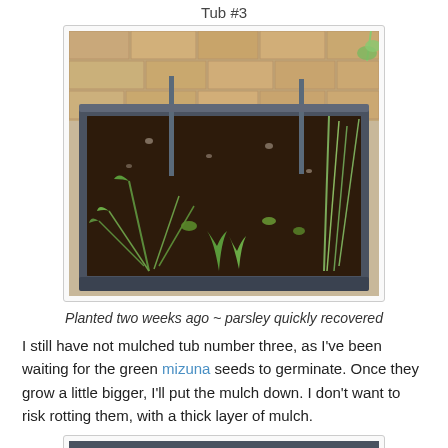Tub #3
[Figure (photo): A dark gray plastic tub/planter filled with dark soil, containing parsley and other seedlings. Brick wall visible in background. Plant stakes visible. Photo taken outdoors in daylight.]
Planted two weeks ago ~ parsley quickly recovered
I still have not mulched tub number three, as I've been waiting for the green mizuna seeds to germinate. Once they grow a little bigger, I'll put the mulch down. I don't want to risk rotting them, with a thick layer of mulch.
[Figure (photo): Partial view of another planter tub with green leafy seedlings visible at the bottom of the frame.]